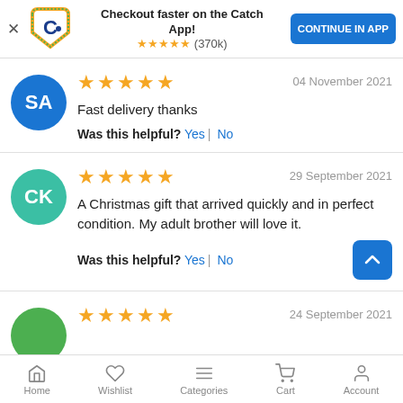[Figure (screenshot): Catch app promotional banner with logo, star rating (370k reviews), and CONTINUE IN APP button]
★★★★★
Fast delivery thanks
Was this helpful? Yes | No
04 November 2021
★★★★★
A Christmas gift that arrived quickly and in perfect condition. My adult brother will love it.
Was this helpful? Yes | No
29 September 2021
★★★★★
24 September 2021
Home  Wishlist  Categories  Cart  Account